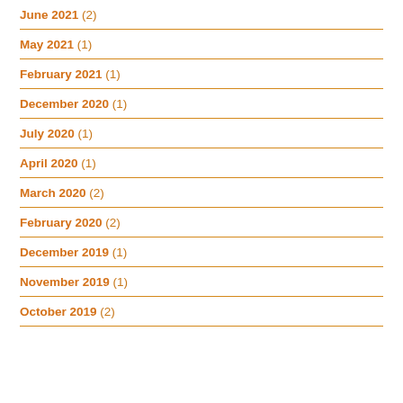June 2021 (2)
May 2021 (1)
February 2021 (1)
December 2020 (1)
July 2020 (1)
April 2020 (1)
March 2020 (2)
February 2020 (2)
December 2019 (1)
November 2019 (1)
October 2019 (2)